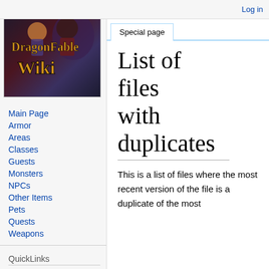Log in
[Figure (logo): DragonFable Wiki logo with game characters and golden stylized text]
Main Page
Armor
Areas
Classes
Guests
Monsters
NPCs
Other Items
Pets
Quests
Weapons
QuickLinks
DragonFable
List of files with duplicates
This is a list of files where the most recent version of the file is a duplicate of the most